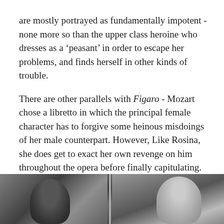are mostly portrayed as fundamentally impotent - none more so than the upper class heroine who dresses as a 'peasant' in order to escape her problems, and finds herself in other kinds of trouble.
There are other parallels with Figaro - Mozart chose a libretto in which the principal female character has to forgive some heinous misdoings of her male counterpart. However, Like Rosina, she does get to exact her own revenge on him throughout the opera before finally capitulating. The main message seems to me to be that forgiveness is an integral part of loving somebody.
[Figure (photo): Black and white photograph showing the backs of two people's heads, split into two panels side by side.]